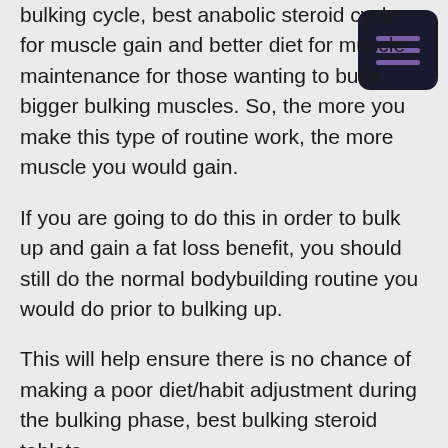bulking cycle, best anabolic steroid cycle for muscle gain and better diet for muscle maintenance for those wanting to build bigger bulking muscles. So, the more you make this type of routine work, the more muscle you would gain.
If you are going to do this in order to bulk up and gain a fat loss benefit, you should still do the normal bodybuilding routine you would do prior to bulking up.
This will help ensure there is no chance of making a poor diet/habit adjustment during the bulking phase, best bulking steroid tablets.
So, the longer you do this, the faster fat loss will happen. This is because you need to consume more calories for fat loss than muscle gain, best bulking steroids.